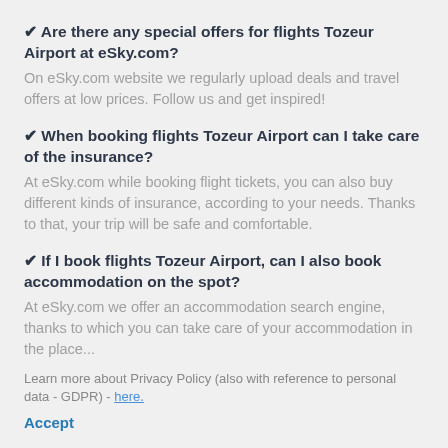✔ Are there any special offers for flights Tozeur Airport at eSky.com?
On eSky.com website we regularly upload deals and travel offers at low prices. Follow us and get inspired!
✔ When booking flights Tozeur Airport can I take care of the insurance?
At eSky.com while booking flight tickets, you can also buy different kinds of insurance, according to your needs. Thanks to that, your trip will be safe and comfortable.
✔ If I book flights Tozeur Airport, can I also book accommodation on the spot?
At eSky.com we offer an accommodation search engine, thanks to which you can take care of your accommodation in the place...
Learn more about Privacy Policy (also with reference to personal data - GDPR) - here.
Accept